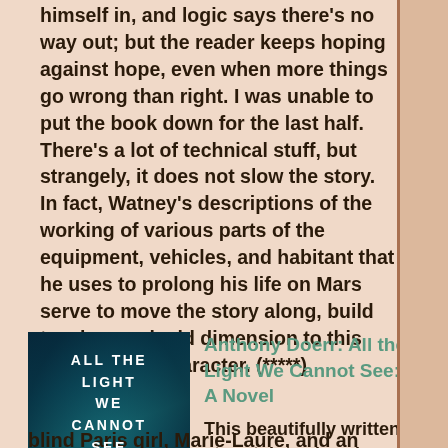himself in, and logic says there's no way out; but the reader keeps hoping against hope, even when more things go wrong than right. I was unable to put the book down for the last half. There's a lot of technical stuff, but strangely, it does not slow the story. In fact, Watney's descriptions of the working of various parts of the equipment, vehicles, and habitant that he uses to prolong his life on Mars serve to move the story along, build tension, and add dimension to this book's main character. (*****)
[Figure (photo): Book cover of 'All the Light We Cannot See' by Anthony Doerr, dark teal/blue tones with city silhouette]
Anthony Doerr: All the Light We Cannot See: A Novel
This beautifully written story takes place in occupied France during World War II. The main characters are a young blind Paris girl, Marie-Laure, and an